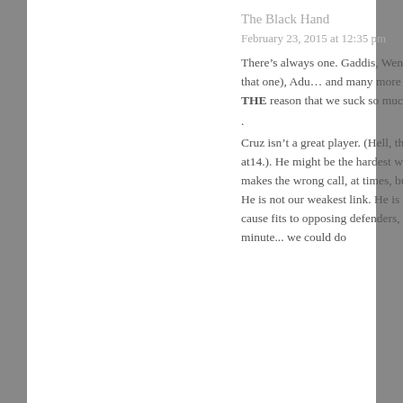The Black Hand
February 23, 2015 at 12:35 pm
There’s always one. Gaddis, Wenger, Fabinho, Carroll (I agree with that one), Adu… and many more have all spent some time being THE reason that we suck so much.
.
Cruz isn’t a great player. (Hell, the kid started playing the game at14.). He might be the hardest working player on the club. He makes the wrong call, at times, but he makes some right ones too. He is not our weakest link. He is a decent depth player, that can cause fits to opposing defenders, when he is brought of in the 75th minute... we could do